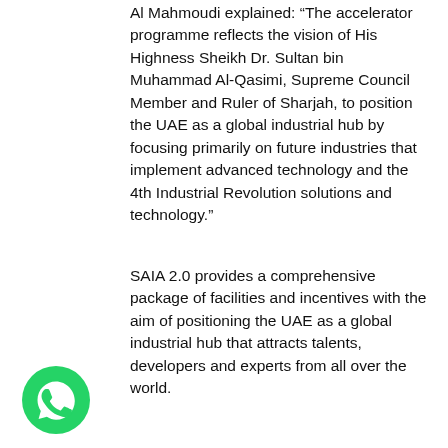Al Mahmoudi explained: “The accelerator programme reflects the vision of His Highness Sheikh Dr. Sultan bin Muhammad Al-Qasimi, Supreme Council Member and Ruler of Sharjah, to position the UAE as a global industrial hub by focusing primarily on future industries that implement advanced technology and the 4th Industrial Revolution solutions and technology.”
SAIA 2.0 provides a comprehensive package of facilities and incentives with the aim of positioning the UAE as a global industrial hub that attracts talents, developers and experts from all over the world.
[Figure (logo): WhatsApp logo — green circle with white phone handset icon]